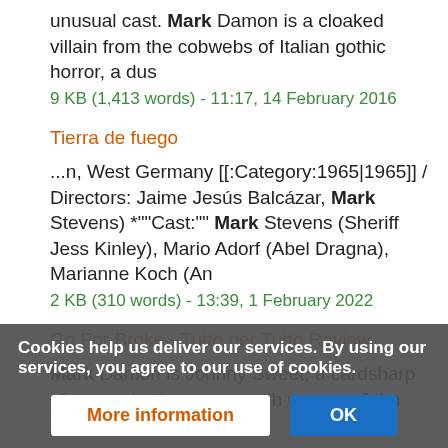unusual cast. Mark Damon is a cloaked villain from the cobwebs of Italian gothic horror, a dus
9 KB (1,413 words) - 11:17, 14 February 2016
Tierra de fuego
...n, West Germany [[:Category:1965|1965]] / Directors: Jaime Jesús Balcázar, Mark Stevens) *""Cast:"" Mark Stevens (Sheriff Jess Kinley), Mario Adorf (Abel Dragna), Marianne Koch (An
2 KB (310 words) - 13:39, 1 February 2022
Go For Broke - Tutto per Tutto Review
Mark Damon is Johnny Sweet, a cardsharp of sorts who has a way with women. John ""Dir:"" Umberto Lenzi -
...Cast: Juan Firdaino (Dir); Mark Damon (Johnny Sweet); Fernando Sancho (Carronza); Mónica Randall (Maria),
4 KB (632 words) - 01:40, 14 September 2016
Cookies help us deliver our services. By using our services, you agree to our use of cookies.